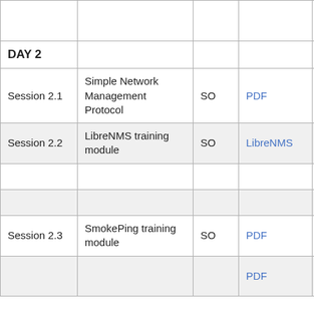|  |  |  |  |  |
| --- | --- | --- | --- | --- |
|  |  |  |  | creation (optional) |
| DAY 2 |  |  |  |  |
| Session 2.1 | Simple Network Management Protocol | SO | PDF | HTML |
| Session 2.2 | LibreNMS training module | SO | LibreNMS | Installation |
|  |  |  |  | Tuning |
|  |  |  |  | LibreNMS lab |
| Session 2.3 | SmokePing training module | SO | PDF |  |
|  |  |  | PDF | Smokeping lab part 1 |